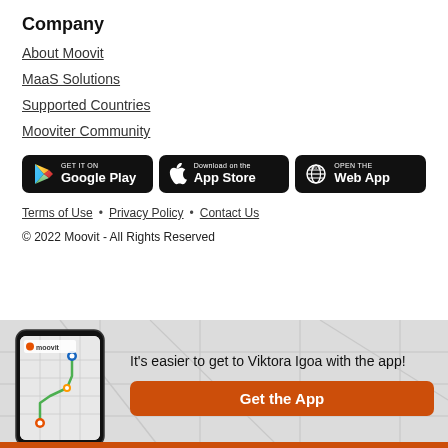Company
About Moovit
MaaS Solutions
Supported Countries
Mooviter Community
[Figure (screenshot): Three app store buttons: GET IT ON Google Play, Download on the App Store, OPEN THE Web App]
Terms of Use · Privacy Policy · Contact Us
© 2022 Moovit - All Rights Reserved
[Figure (infographic): Bottom banner with Moovit phone app screenshot showing map route, and text 'It's easier to get to Viktora Igoa with the app!' with 'Get the App' button on map grid background]